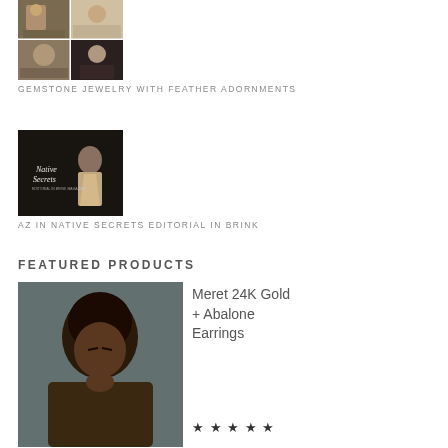[Figure (photo): Collage of four photos showing Native American people with jewelry and feather adornments]
GEMSTONE JEWELRY WITH FEATHER ADORNMENTS
[Figure (photo): Dark promotional editorial photo with text 'Native Secrets' overlaid, showing a woman in native-inspired clothing]
AZ IN NATIVE SECRETS EDITORIAL IN BRINK
FEATURED PRODUCTS
[Figure (photo): Portrait photo of a woman with natural hair looking down, product photo for jewelry]
Meret 24K Gold + Abalone Earrings
★ ★ ★ ★ ★